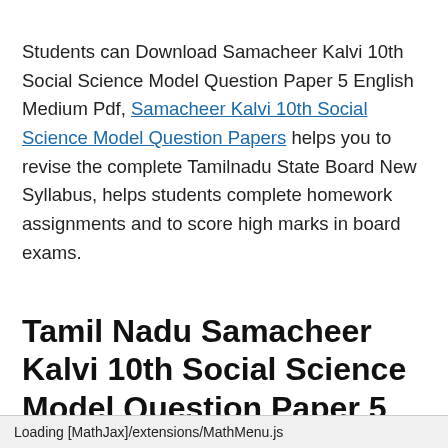Students can Download Samacheer Kalvi 10th Social Science Model Question Paper 5 English Medium Pdf, Samacheer Kalvi 10th Social Science Model Question Papers helps you to revise the complete Tamilnadu State Board New Syllabus, helps students complete homework assignments and to score high marks in board exams.
Tamil Nadu Samacheer Kalvi 10th Social Science Model Question Paper 5 English Medium
Loading [MathJax]/extensions/MathMenu.js